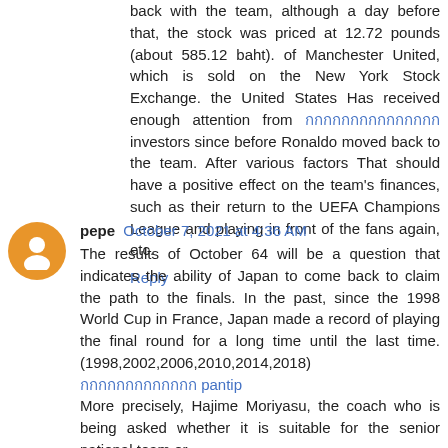back with the team, although a day before that, the stock was priced at 12.72 pounds (about 585.12 baht). of Manchester United, which is sold on the New York Stock Exchange. the United States Has received enough attention from [Thai link text] investors since before Ronaldo moved back to the team. After various factors That should have a positive effect on the team's finances, such as their return to the UEFA Champions League and playing in front of the fans again, etc.
Reply
pepe October 7, 2021 at 4:36 AM
The results of October 64 will be a question that indicates the ability of Japan to come back to claim the path to the finals. In the past, since the 1998 World Cup in France, Japan made a record of playing the final round for a long time until the last time. (1998,2002,2006,2010,2014,2018) [Thai link] pantip More precisely, Hajime Moriyasu, the coach who is being asked whether it is suitable for the senior national team or